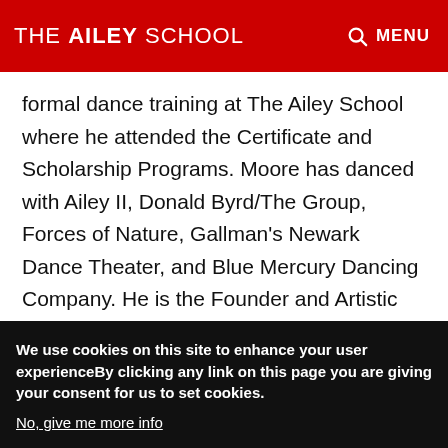THE AILEY SCHOOL
formal dance training at The Ailey School where he attended the Certificate and Scholarship Programs. Moore has danced with Ailey II, Donald Byrd/The Group, Forces of Nature, Gallman's Newark Dance Theater, and Blue Mercury Dancing Company. He is the Founder and Artistic Director of Footprints Dance Company. During his 25-year career as a dancer and choreographer, Mr. Moore has amassed credits in musicals, national television shows, music videos, and documentaries. A master teacher of the Horton technique, he conducts
We use cookies on this site to enhance your user experienceBy clicking any link on this page you are giving your consent for us to set cookies.
No, give me more info